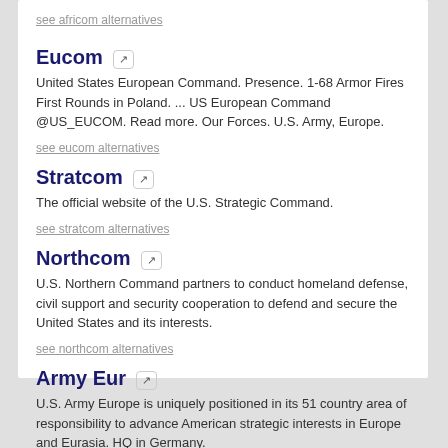see africom alternatives
Eucom
United States European Command. Presence. 1-68 Armor Fires First Rounds in Poland. ... US European Command @US_EUCOM. Read more. Our Forces. U.S. Army, Europe.
see eucom alternatives
Stratcom
The official website of the U.S. Strategic Command.
see stratcom alternatives
Northcom
U.S. Northern Command partners to conduct homeland defense, civil support and security cooperation to defend and secure the United States and its interests.
see northcom alternatives
Army Eur
U.S. Army Europe is uniquely positioned in its 51 country area of responsibility to advance American strategic interests in Europe and Eurasia. HQ in Germany.
see army eur alternatives